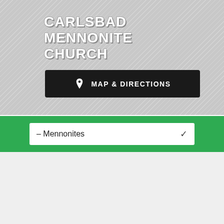CARLSBAD MENNONITE CHURCH
[Figure (infographic): Map & Directions button with location pin icon on dark background]
– Mennonites
Mennonites
Mennonites are a branch of the Christian church, with roots in the radical wing of the 16th century Protestant Reformation. Part